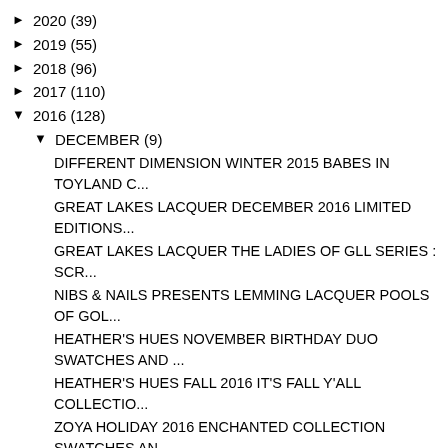► 2020 (39)
► 2019 (55)
► 2018 (96)
► 2017 (110)
▼ 2016 (128)
▼ DECEMBER (9)
DIFFERENT DIMENSION WINTER 2015 BABES IN TOYLAND C...
GREAT LAKES LACQUER DECEMBER 2016 LIMITED EDITIONS...
GREAT LAKES LACQUER THE LADIES OF GLL SERIES : SCR...
NIBS & NAILS PRESENTS LEMMING LACQUER POOLS OF GOL...
HEATHER'S HUES NOVEMBER BIRTHDAY DUO SWATCHES AND ...
HEATHER'S HUES FALL 2016 IT'S FALL Y'ALL COLLECTIO...
ZOYA HOLIDAY 2016 ENCHANTED COLLECTION SWATCHES AN...
ZOYA HOLIDAY 2016 ENCHANTED COLLECTION SWATCHES AN...
POLISHED FOR DAYS POSITIVE VIBES COLLECTION SWATCH...
► NOVEMBER (6)